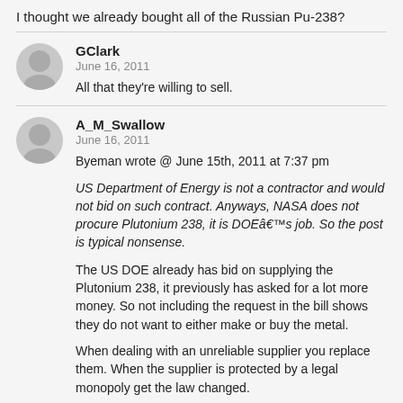I thought we already bought all of the Russian Pu-238?
GClark
June 16, 2011

All that they're willing to sell.
A_M_Swallow
June 16, 2011

Byeman wrote @ June 15th, 2011 at 7:37 pm

US Department of Energy is not a contractor and would not bid on such contract. Anyways, NASA does not procure Plutonium 238, it is DOEâ€™s job. So the post is typical nonsense.

The US DOE already has bid on supplying the Plutonium 238, it previously has asked for a lot more money. So not including the request in the bill shows they do not want to either make or buy the metal.

When dealing with an unreliable supplier you replace them. When the supplier is protected by a legal monopoly get the law changed.